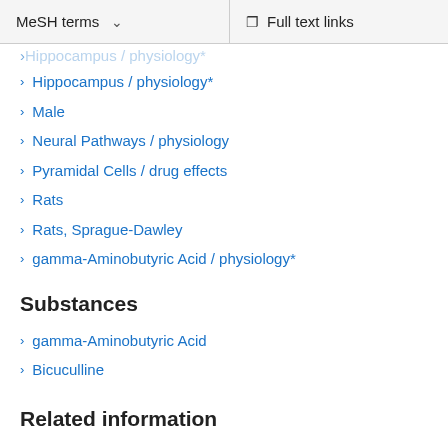MeSH terms   Full text links
Hippocampus / physiology*
Male
Neural Pathways / physiology
Pyramidal Cells / drug effects
Rats
Rats, Sprague-Dawley
gamma-Aminobutyric Acid / physiology*
Substances
gamma-Aminobutyric Acid
Bicuculline
Related information
Cited in Books
MedGen